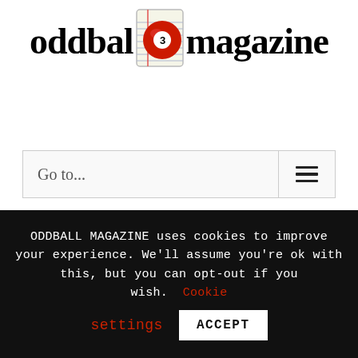[Figure (logo): Oddball Magazine logo with red billiard ball (number 3) inline with text]
Go to...
what would life be like if the women are freed.
ODDBALL MAGAZINE uses cookies to improve your experience. We'll assume you're ok with this, but you can opt-out if you wish. Cookie settings ACCEPT